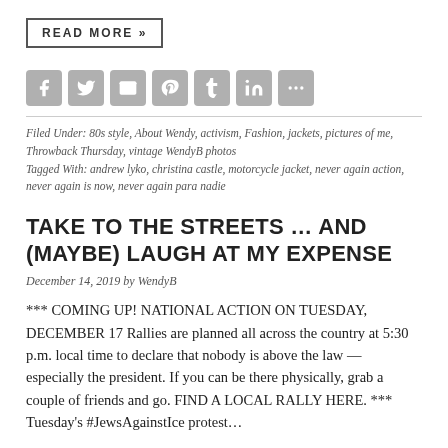READ MORE »
[Figure (other): Social sharing icons row: Facebook, Twitter, Email, Pinterest, Tumblr, LinkedIn, More]
Filed Under: 80s style, About Wendy, activism, Fashion, jackets, pictures of me, Throwback Thursday, vintage WendyB photos
Tagged With: andrew lyko, christina castle, motorcycle jacket, never again action, never again is now, never again para nadie
TAKE TO THE STREETS … AND (MAYBE) LAUGH AT MY EXPENSE
December 14, 2019 by WendyB
*** COMING UP! NATIONAL ACTION ON TUESDAY, DECEMBER 17 Rallies are planned all across the country at 5:30 p.m. local time to declare that nobody is above the law — especially the president. If you can be there physically, grab a couple of friends and go. FIND A LOCAL RALLY HERE. *** Tuesday's #JewsAgainstIce protest…